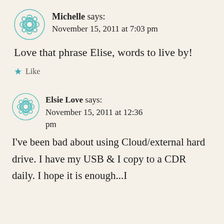Michelle says:
November 15, 2011 at 7:03 pm
Love that phrase Elise, words to live by!
★ Like
Elsie Love says:
November 15, 2011 at 12:36 pm
I've been bad about using Cloud/external hard drive. I have my USB & I copy to a CDR daily. I hope it is enough...I